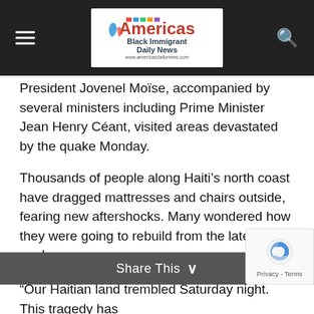Americas Black Immigrant Daily News
President Jovenel Moïse, accompanied by several ministers including Prime Minister Jean Henry Céant, visited areas devastated by the quake Monday.
Thousands of people along Haiti's north coast have dragged mattresses and chairs outside, fearing new aftershocks. Many wondered how they were going to rebuild from the latest quake.
“I am deeply moved by the images of the October 6th earthquake in northwest Haiti. My prayers are with those families who are crying today. An nou meté tet ansam pou édé youn lot menm jan nou te fè 12 janvyé 2010,” said Bocchit Edmond, Minister of Foreign Affairs.
Share This
“Our Haitian land trembled Saturday night. This tragedy has